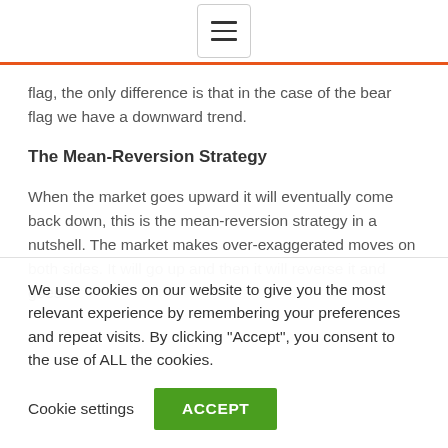[Figure (other): Hamburger menu button icon with three horizontal lines inside a rounded rectangle border]
flag, the only difference is that in the case of the bear flag we have a downward trend.
The Mean-Reversion Strategy
When the market goes upward it will eventually come back down, this is the mean-reversion strategy in a nutshell. The market makes over-exaggerated moves on both sides. It will go up and then it will reverse it and goes
We use cookies on our website to give you the most relevant experience by remembering your preferences and repeat visits. By clicking "Accept", you consent to the use of ALL the cookies.
Cookie settings   ACCEPT